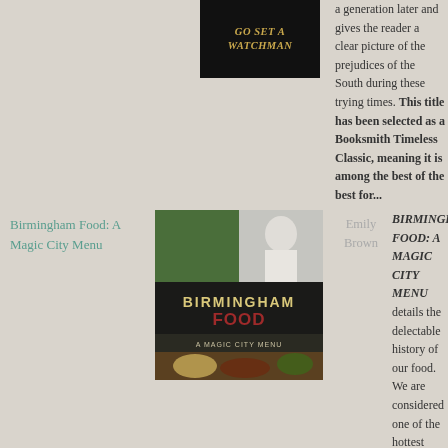[Figure (photo): Book cover of 'Go Set a Watchman' with gold italic text on black background]
a generation later and gives the reader a clear picture of the prejudices of the South during these trying times. This title has been selected as a Booksmith Timeless Classic, meaning it is among the best of the best for...
Birmingham Food: A Magic City Menu
[Figure (photo): Book cover of 'Birmingham Food: A Magic City Menu' showing a chef and food images]
Emily Brown
BIRMINGHAM FOOD: A MAGIC CITY MENU details the delectable history of our food. We are considered one of the hottest foodie cities in